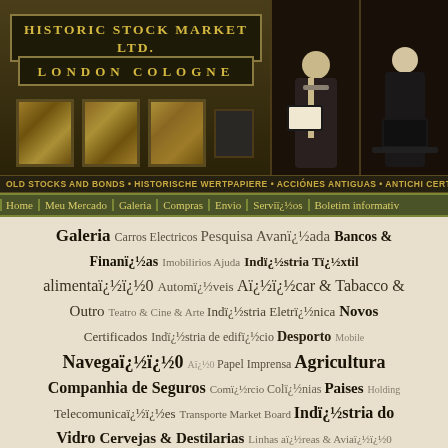[Figure (photo): Historic Stock Market Ltd. website header banner with company logo text 'HISTORIC STOCK MARKET LTD.' and 'LONDON COLOGNE', framed certificates in a gallery setting on left, and business professionals (man with notebook, woman with laptop) on right]
OLD STOCKS AND BONDS • HISTORISCHE WERTPAPIERE • ACCIÓNES ANTIGUAS • ANTICHI CERTIFICATI AZIONARI •
Home  Meu Mercado  Galeria  Compras  Envio  Serviï¿½os  Boletim informativ
Galeria  Carros Electricos  Pesquisa Avanï¿½ada  Bancos & Finanï¿½as  Imobilirios  Ajuda  Indï¿½stria Tï¿½xtil  alimentaï¿½ï¿½0  Automï¿½veis  Aï¿½ï¿½car & Tabacco & Outro  Teatro & Cine & Arte  Indï¿½stria Eletrï¿½nica  Novos Certificados  Indï¿½stria de edifï¿½cio  Desporto  Mobile  Navegaï¿½ï¿½0  Aï¿½0  Papel  Imprensa  Agricultura  Companhia de Seguros  Comï¿½rcio  Colï¿½nias  Paises  Holding  Telecomunicaï¿½ï¿½es  Transporte  Market Board  Indï¿½stria do Vidro  Cervejas & Destilarias  Linhas aï¿½reas & Aviaï¿½ï¿½0  Serviï¿½os  Mineraï¿½ï¿½0 & ï¿½leo  Media  Quï¿½mica  Estradas de Ferro  ï¿½gua & Energia  Engenharia Mecï¿½nica  Indï¿½stria elï¿½trica  Cidades & Estados